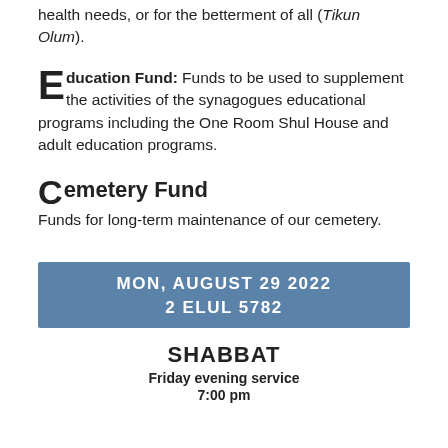health needs, or for the betterment of all (Tikun Olum).
Education Fund: Funds to be used to supplement the activities of the synagogues educational programs including the One Room Shul House and adult education programs.
Cemetery Fund
Funds for long-term maintenance of our cemetery.
MON, AUGUST 29 2022
2 ELUL 5782
SHABBAT
Friday evening service
7:00 pm